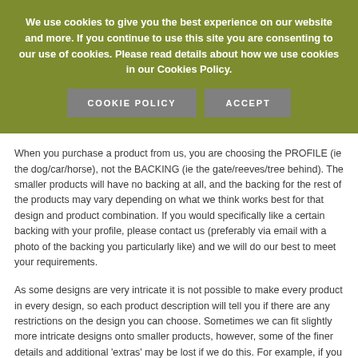We use cookies to give you the best experience on our website and more. If you continue to use this site you are consenting to our use of cookies. Please read details about how we use cookies in our Cookies Policy.
COOKIE POLICY   ACCEPT
When you purchase a product from us, you are choosing the PROFILE (ie the dog/car/horse), not the BACKING (ie the gate/reeves/tree behind). The smaller products will have no backing at all, and the backing for the rest of the products may vary depending on what we think works best for that design and product combination. If you would specifically like a certain backing with your profile, please contact us (preferably via email with a photo of the backing you particularly like) and we will do our best to meet your requirements.
As some designs are very intricate it is not possible to make every product in every design, so each product description will tell you if there are any restrictions on the design you can choose. Sometimes we can fit slightly more intricate designs onto smaller products, however, some of the finer details and additional 'extras' may be lost if we do this. For example, if you would like the 'Jump' design on a hookit, this can be done, but the showjump the horse is jumping over will not be on the final product - it will just be the horse itself jumping. The designs are divided into 4 groups. Group